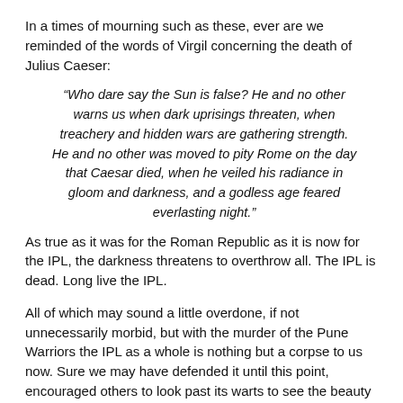In a times of mourning such as these, ever are we reminded of the words of Virgil concerning the death of Julius Caeser:
“Who dare say the Sun is false? He and no other warns us when dark uprisings threaten, when treachery and hidden wars are gathering strength. He and no other was moved to pity Rome on the day that Caesar died, when he veiled his radiance in gloom and darkness, and a godless age feared everlasting night.”
As true as it was for the Roman Republic as it is now for the IPL, the darkness threatens to overthrow all. The IPL is dead. Long live the IPL.
All of which may sound a little overdone, if not unnecessarily morbid, but with the murder of the Pune Warriors the IPL as a whole is nothing but a corpse to us now. Sure we may have defended it until this point, encouraged others to look past its warts to see the beauty inside (if the IPL could have a personality, it would be ‘bubbly’), but alas, we can delude ourselves no longer. Even if the IPL somehow manages to clean up its act, remove the ridiculous restriction on the number of foreign players allowed to take the field and rid itself of Ravi Shastri's histrionics, it would still be dead to us. The IPL we fell for is gone, never to return.